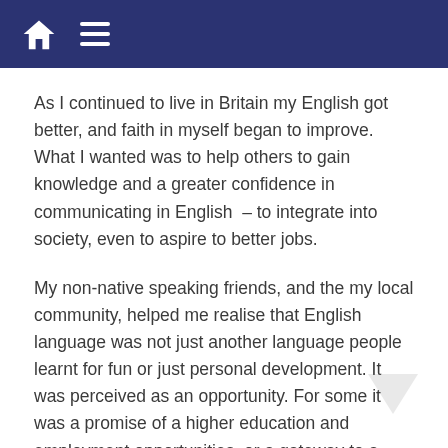Home / Menu navigation bar
As I continued to live in Britain my English got better, and faith in myself began to improve.  What I wanted was to help others to gain knowledge and a greater confidence in communicating in English  – to integrate into society, even to aspire to better jobs.
My non-native speaking friends, and the my local community, helped me realise that English language was not just another language people learnt for fun or just personal development. It was perceived as an opportunity. For some it was a promise of a higher education and employment opportunities, or a gateway to a better quality of life. This idea resonated with me. Although I initially debated whether it was ultimately necessary to add